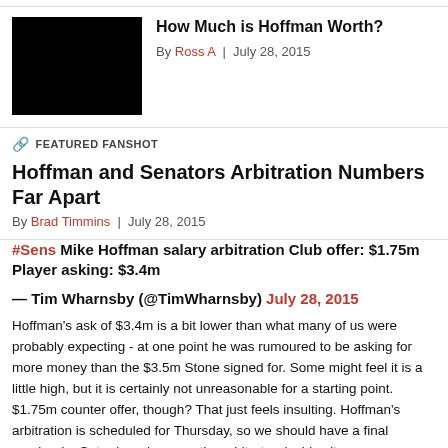[Figure (photo): Black thumbnail image for article]
How Much is Hoffman Worth?
By Ross A  |  July 28, 2015
FEATURED FANSHOT
Hoffman and Senators Arbitration Numbers Far Apart
By Brad Timmins  |  July 28, 2015
#Sens Mike Hoffman salary arbitration Club offer: $1.75m Player asking: $3.4m
— Tim Wharnsby (@TimWharnsby) July 28, 2015
Hoffman's ask of $3.4m is a bit lower than what many of us were probably expecting - at one point he was rumoured to be asking for more money than the $3.5m Stone signed for. Some might feel it is a little high, but it is certainly not unreasonable for a starting point. $1.75m counter offer, though? That just feels insulting. Hoffman's arbitration is scheduled for Thursday, so we should have a final number by Saturday whenever the arbitrator decides it.